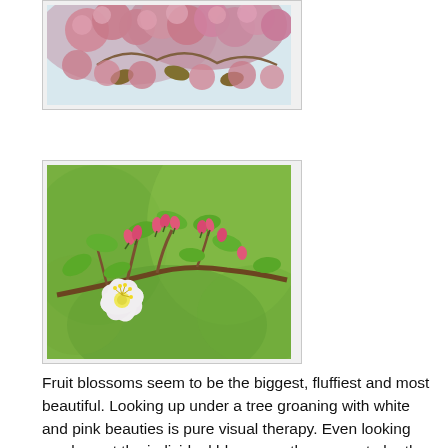[Figure (photo): Close-up photo of pink fluffy cherry blossoms against a light sky background, viewed from below]
[Figure (photo): Branch with pink buds and one open white flower blossom with green leaves, against a blurred green background]
Fruit blossoms seem to be the biggest, fluffiest and most beautiful. Looking up under a tree groaning with white and pink beauties is pure visual therapy. Even looking up close at the individual blossoms, they seem to be the most perfect specimens, the biggest flowers, the most open flowers, florets crowding each other out on each